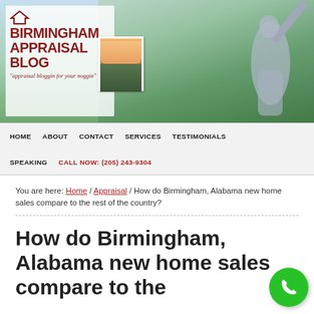[Figure (photo): Birmingham Appraisal Blog header banner with logo, person photo, and aerial city/Vulcan statue background]
HOME   ABOUT   CONTACT   SERVICES   TESTIMONIALS   SPEAKING   CALL NOW: (205) 243-9304
You are here: Home / Appraisal / How do Birmingham, Alabama new home sales compare to the rest of the country?
How do Birmingham, Alabama new home sales compare to the